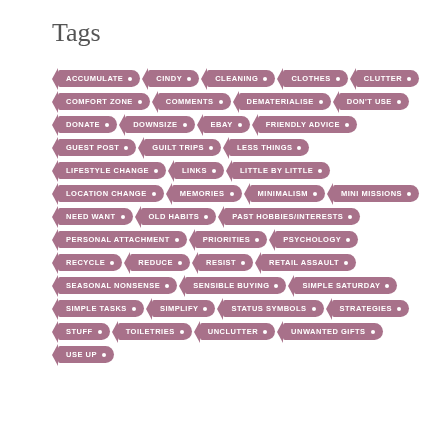Tags
ACCUMULATE
CINDY
CLEANING
CLOTHES
CLUTTER
COMFORT ZONE
COMMENTS
DEMATERIALISE
DON'T USE
DONATE
DOWNSIZE
EBAY
FRIENDLY ADVICE
GUEST POST
GUILT TRIPS
LESS THINGS
LIFESTYLE CHANGE
LINKS
LITTLE BY LITTLE
LOCATION CHANGE
MEMORIES
MINIMALISM
MINI MISSIONS
NEED WANT
OLD HABITS
PAST HOBBIES/INTERESTS
PERSONAL ATTACHMENT
PRIORITIES
PSYCHOLOGY
RECYCLE
REDUCE
RESIST
RETAIL ASSAULT
SEASONAL NONSENSE
SENSIBLE BUYING
SIMPLE SATURDAY
SIMPLE TASKS
SIMPLIFY
STATUS SYMBOLS
STRATEGIES
STUFF
TOILETRIES
UNCLUTTER
UNWANTED GIFTS
USE UP